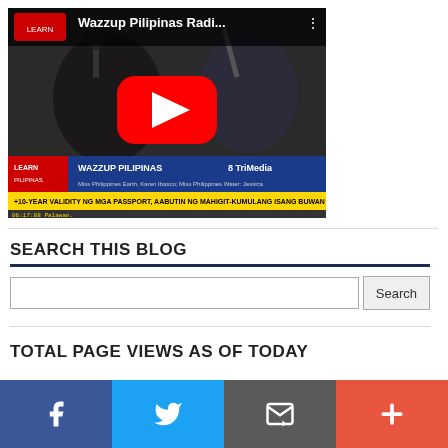[Figure (screenshot): YouTube video thumbnail showing two radio hosts at microphones with 'Wazzup Pilipinas Radi...' title, WAZZUP PILIPINAS 8 TriMedia lower-third graphic, and a news ticker about passport validity.]
SEARCH THIS BLOG
[Figure (screenshot): Search input field with Search button]
TOTAL PAGE VIEWS AS OF TODAY
[Figure (infographic): Social sharing bar with Facebook, Twitter, email/subscribe, and plus buttons at the bottom of the page.]